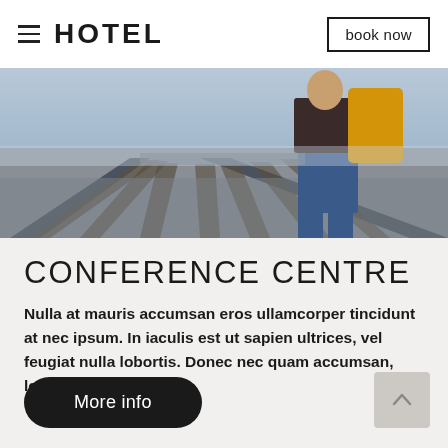HOTEL   book now
[Figure (photo): A person standing on railway tracks, wearing jeans and a yellow jacket, viewed from behind. The tracks and gravel are visible in the foreground.]
CONFERENCE CENTRE
Nulla at mauris accumsan eros ullamcorper tincidunt at nec ipsum. In iaculis est ut sapien ultrices, vel feugiat nulla lobortis. Donec nec quam accumsan, lobortis.
More info